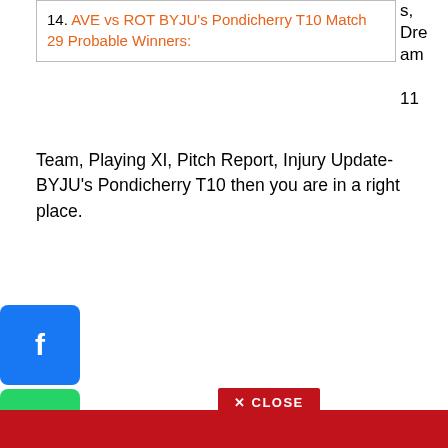14. AVE vs ROT BYJU's Pondicherry T10 Match 29 Probable Winners:
s, Dream 11
Team, Playing XI, Pitch Report, Injury Update- BYJU's Pondicherry T10 then you are in a right place.
[Figure (other): Social media share buttons: Facebook (blue), WhatsApp (green), Pinterest (red/dark), Share/Add (blue)]
✕ CLOSE